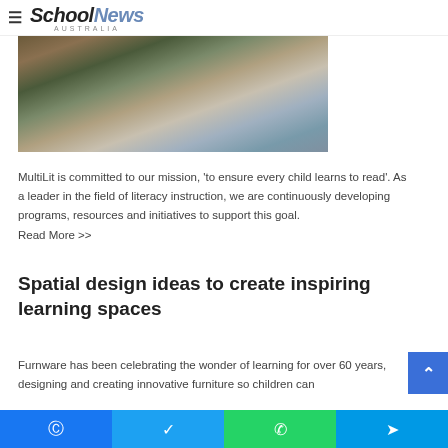School News Australia
[Figure (photo): Children sitting at a desk in a classroom, writing on paper. Close-up view of hands working on a worksheet.]
MultiLit is committed to our mission, 'to ensure every child learns to read'. As a leader in the field of literacy instruction, we are continuously developing programs, resources and initiatives to support this goal.
Read More >>
Spatial design ideas to create inspiring learning spaces
Furnware has been celebrating the wonder of learning for over 60 years, designing and creating innovative furniture so children can